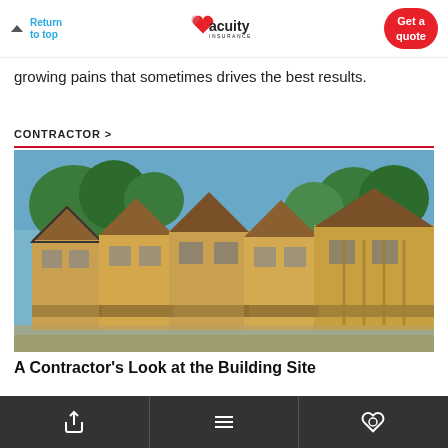Return to top | Acuity Insurance | Get a quote
growing pains that sometimes drives the best results.
CONTRACTOR >
[Figure (photo): Construction photo showing multiple new homes being framed with wood OSB sheathing under blue sky with green trees in background. Houses are in various stages of framing.]
A Contractor's Look at the Building Site